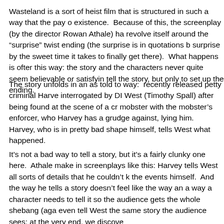Wasteland is a sort of heist film that is structured in such a way that the pay o existence.  Because of this, the screenplay (by the director Rowan Athale) ha revolve itself around the "surprise" twist ending (the surprise is in quotations b surprise by the sweet time it takes to finally get there).  What happens is ofter this way: the story and the characters never quite seem believable or satisfyin tell the story, but only to set up the ending.
The story unfolds in an as told to way:  recently released petty criminal Harve interrogated by DI West (Timothy Spall) after being found at the scene of a cr mobster with the mobster's enforcer, who Harvey has a grudge against, lying him.  Harvey, who is in pretty bad shape himself, tells West what happened.
It's not a bad way to tell a story, but it's a fairly clunky one here.  Athale make in screenplays like this: Harvey tells West all sorts of details that he couldn't k the events himself.  And the way he tells a story doesn't feel like the way an a way a character needs to tell it so the audience gets the whole shebang (aga even tell West the same story the audience sees: at the very end, we discove